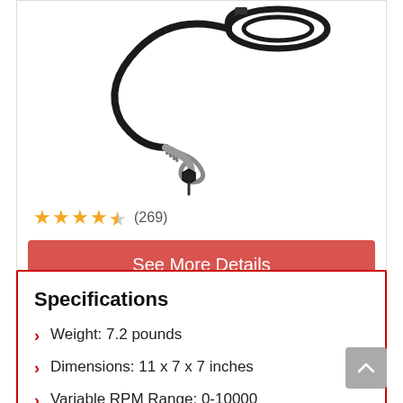[Figure (photo): A flexible shaft attachment for a rotary tool, showing a black cable with metal spring flex shaft and a small chuck/collet at the end, with electrical cable coiled at the top.]
★★★★½ (269)
See More Details
Specifications
Weight: 7.2 pounds
Dimensions: 11 x 7 x 7 inches
Variable RPM Range: 0-10000